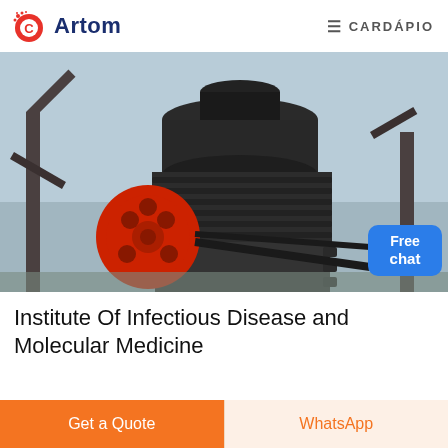Artom   CARDÁPIO
[Figure (photo): Industrial cone crusher machine with a large red pulley wheel and black machinery body, photographed outdoors on a construction/industrial site. A 'Free chat' button overlay is visible in the bottom right.]
Institute Of Infectious Disease and Molecular Medicine
Get a Quote
WhatsApp